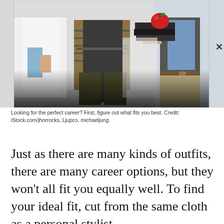[Figure (photo): Three professionals shown from the torso down: a doctor in white lab coat, a person in plaid shirt with dark apron, and a person in a blazer holding stacked books with a red apple on top. The background fades to dark at the bottom.]
Looking for the perfect career? First, figure out what fits you best. Credit: iStock.com/jhorrocks, Ljupco, michaeljung
Just as there are many kinds of outfits, there are many career options, but they won't all fit you equally well. To find your ideal fit, cut from the same cloth as a personal stylist.